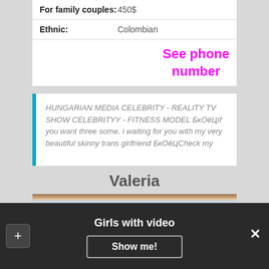| For family couples: | 450$ |
| Ethnic: | Colombian |
See phone number
HUNGARIAN MEDIA CELEBRITY - REALITY TV SHOW CELEBRITYY - FITNESS MODEL БкОёЦIf you want three some, i waiting for you with my very beautiful skinny trans girlfriend БкОёЦCheck my
Valeria
[Figure (photo): Partial photo of a person, cropped at top of frame]
Girls with video
Show me!